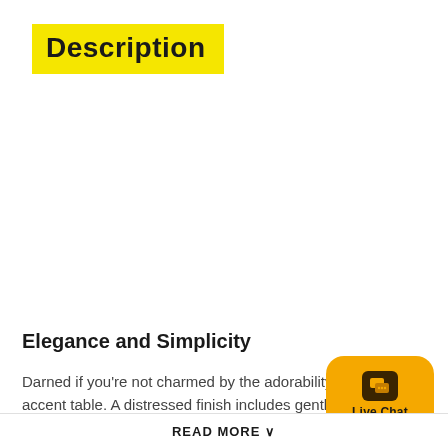Description
Elegance and Simplicity
Darned if you're not charmed by the adorability of this round accent table. A distressed finish includes gentle rubbed through treatment for a lovely vintage effect. Classic scrolled feet, pedestal base and turned accents compl…